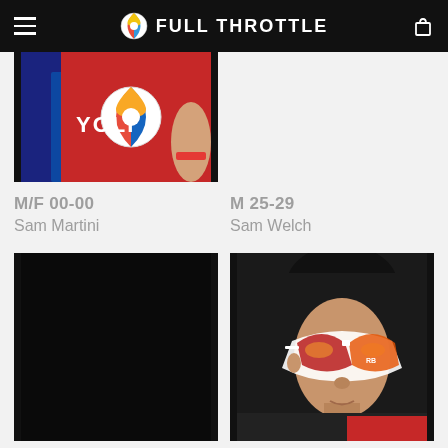FULL THROTTLE
[Figure (photo): Partial view of triathlon cyclist in red jersey with Full Throttle logo patch, partially cropped at top]
[Figure (photo): Empty/blank right image slot]
M/F 00-00
Sam Martini
M 25-29
Sam Welch
[Figure (photo): Black image placeholder]
[Figure (photo): Athlete wearing white sport sunglasses with red/yellow mirrored lenses, dark background]
F 40-44
M/F 00-00